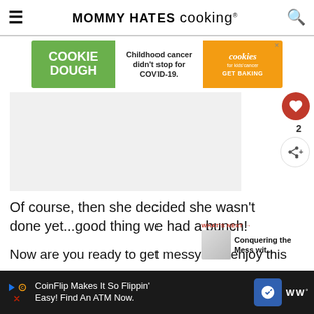MOMMY HATES cooking®
[Figure (screenshot): Cookie Dough for Kids Cancer advertisement banner: green left panel with 'COOKIE DOUGH' text, white middle with 'Childhood cancer didn't stop for COVID-19.', orange right panel with cookies for kids'cancer logo and 'GET BAKING']
[Figure (photo): Large food photo placeholder area (light gray)]
Of course, then she decided she wasn't done yet...good thing we had a bunch!
Now are you ready to get messy and enjoy this
[Figure (screenshot): CoinFlip advertisement banner at the bottom: 'CoinFlip Makes It So Flippin' Easy! Find An ATM Now.' on dark background with blue arrow icon and WW logo]